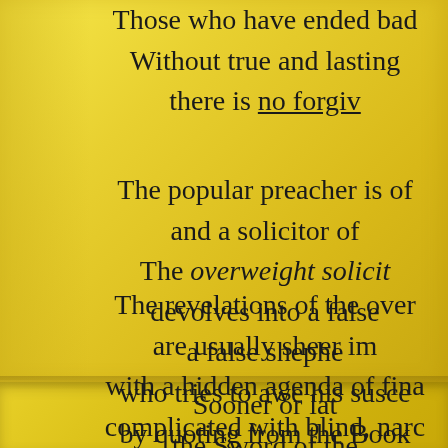Those who have ended bad 
Without true and lasting 
there is no forgiv
The popular preacher is of 
and a solicitor of 
The overweight solicit 
devolves into a false 
a false shephe 
who tries to awe his susce 
by quoting from the Book
The revelations of the over 
are usually sheer im 
with a hidden agenda of fina 
complicated with blind, narc
Sooner or lat 
the Sword of the